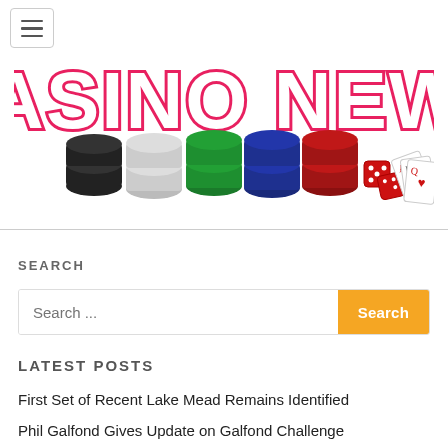[Figure (logo): Casino News logo with stacks of casino chips (black, white, green, blue, red), red dice, and playing cards. Text reads CASINO NEWS in large pink outlined letters.]
SEARCH
Search ...
LATEST POSTS
First Set of Recent Lake Mead Remains Identified
Phil Galfond Gives Update on Galfond Challenge